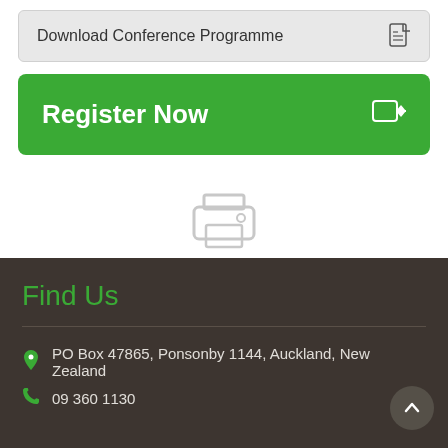Download Conference Programme
Register Now
[Figure (illustration): Printer icon with text PRINT THIS PAGE below it]
Find Us
PO Box 47865, Ponsonby 1144, Auckland, New Zealand
09 360 1130